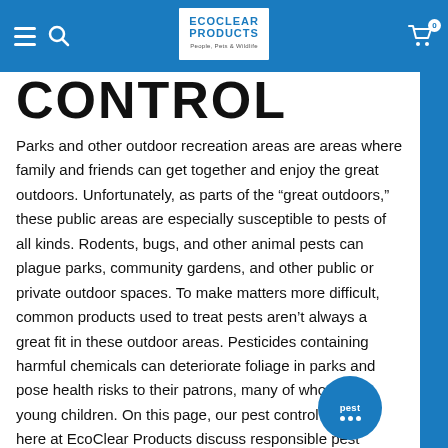EcoClear Products navigation bar with hamburger menu, search icon, logo, and cart
CONTROL
Parks and other outdoor recreation areas are areas where family and friends can get together and enjoy the great outdoors. Unfortunately, as parts of the “great outdoors,” these public areas are especially susceptible to pests of all kinds. Rodents, bugs, and other animal pests can plague parks, community gardens, and other public or private outdoor spaces. To make matters more difficult, common products used to treat pests aren’t always a great fit in these outdoor areas. Pesticides containing harmful chemicals can deteriorate foliage in parks and pose health risks to their patrons, many of whom are young children. On this page, our pest control experts here at EcoClear Products discuss responsible pest control and prevention for parks and other outdoor areas. We provide prevention tips, control recommendations, and